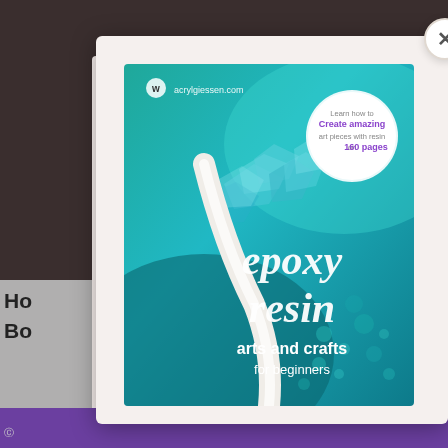[Figure (photo): Modal popup showing the cover of a book titled 'epoxy resin arts and crafts for beginners' from acrylgiessen.com. The book cover features a teal/turquoise resin art design with text reading 'epoxy resin arts and crafts for beginners' and a circular badge saying 'Learn how to Create amazing art pieces with resin on 160 pages'. Background shows a dark wooden table and pink fabric. A close button (x) appears in the top right of the modal.]
Ho...
Bo...